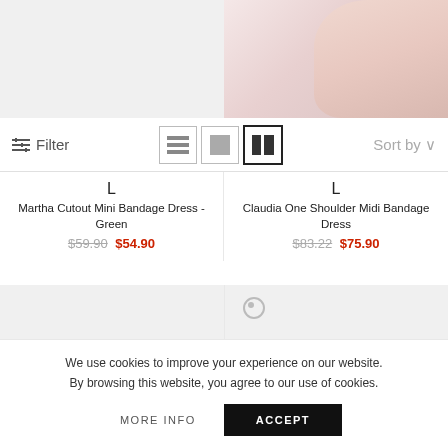[Figure (screenshot): Top half of e-commerce product listing page showing two product cards (left: empty/gray, right: pink dress on model) with filter/sort toolbar]
Filter
Sort by
L
Martha Cutout Mini Bandage Dress - Green
$59.90  $54.90
L
Claudia One Shoulder Midi Bandage Dress
$83.22  $75.90
[Figure (photo): Gray placeholder product image area (bottom left)]
[Figure (photo): Gray placeholder product image area (bottom right)]
We use cookies to improve your experience on our website. By browsing this website, you agree to our use of cookies.
MORE INFO
ACCEPT